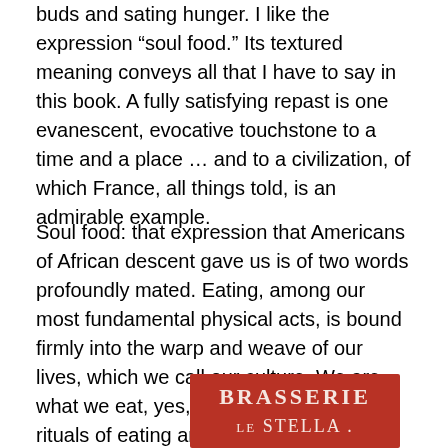buds and sating hunger. I like the expression “soul food.” Its textured meaning conveys all that I have to say in this book. A fully satisfying repast is one evanescent, evocative touchstone to a time and a place … and to a civilization, of which France, all things told, is an admirable example.
Soul food: that expression that Americans of African descent gave us is of two words profoundly mated. Eating, among our most fundamental physical acts, is bound firmly into the warp and weave of our lives, which we call our culture. We are what we eat, yes, but more than that, our rituals of eating are ways of communing with the culture that defines who we are.
[Figure (photo): A red sign reading BRASSERIE LE STELLA in white serif lettering on a red background.]